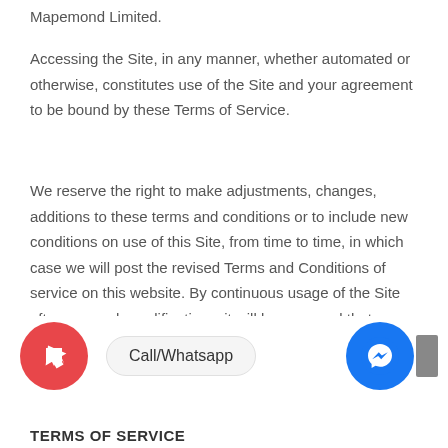Mapemond Limited.
Accessing the Site, in any manner, whether automated or otherwise, constitutes use of the Site and your agreement to be bound by these Terms of Service.
We reserve the right to make adjustments, changes, additions to these terms and conditions or to include new conditions on use of this Site, from time to time, in which case we will post the revised Terms and Conditions of service on this website. By continuous usage of the Site after any such modifications, it will be assumed that you accept all modifications made to www.mapemond.com
[Figure (infographic): Red circular chat reply icon, Call/Whatsapp button, and blue Facebook Messenger circular icon with gray block]
TERMS OF SERVICE